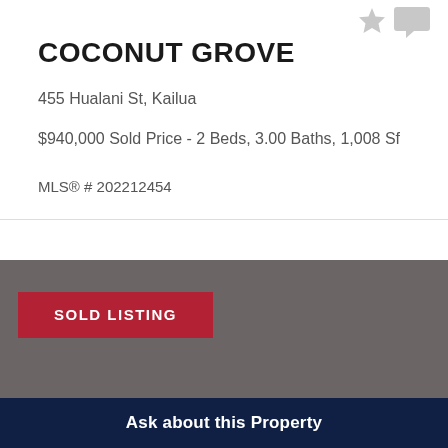COCONUT GROVE
455 Hualani St, Kailua
$940,000 Sold Price - 2 Beds, 3.00 Baths, 1,008 Sf
MLS® # 202212454
[Figure (other): Gray placeholder image area with a red 'SOLD LISTING' badge overlay]
Ask about this Property